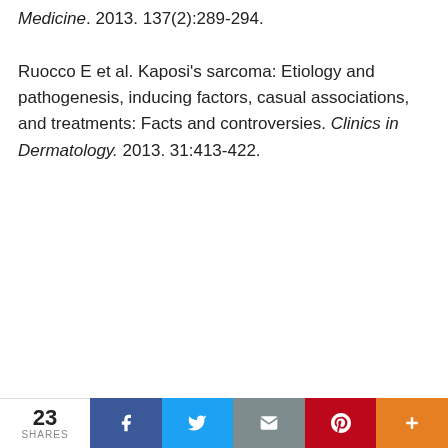Medicine. 2013. 137(2):289-294.

Ruocco E et al. Kaposi's sarcoma: Etiology and pathogenesis, inducing factors, casual associations, and treatments: Facts and controversies. Clinics in Dermatology. 2013. 31:413-422.
[Figure (screenshot): A web widget with two tabs 'Find My Cancer Drugs' (active, dark blue) and 'Cancer Types' (inactive), followed by an alphabetical letter grid (A-Z plus #) arranged in 3 rows of 9 buttons each, and a social share bar at the bottom showing 23 SHARES with Facebook, Twitter, Email, Pinterest, and More buttons.]